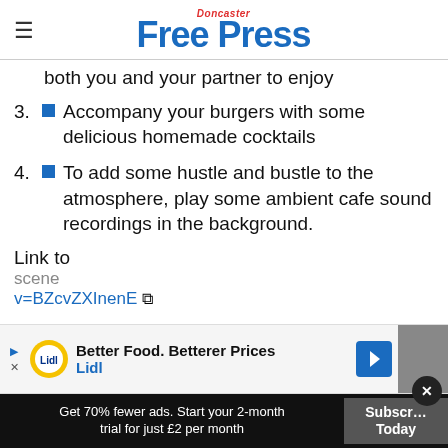Doncaster Free Press
both you and your partner to enjoy
3. Accompany your burgers with some delicious homemade cocktails
4. To add some hustle and bustle to the atmosphere, play some ambient cafe sound recordings in the background.
Link to
scene
v=BZcvZXInenE
[Figure (other): Lidl advertisement banner: Better Food. Betterer Prices - Lidl]
Get 70% fewer ads. Start your 2-month trial for just £2 per month
Subscribe Today